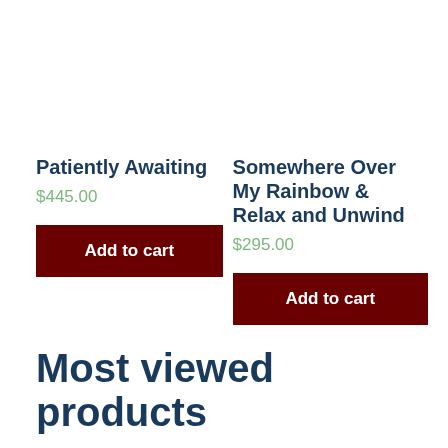Patiently Awaiting
$445.00
Add to cart
Somewhere Over My Rainbow & Relax and Unwind
$295.00
Add to cart
Most viewed products